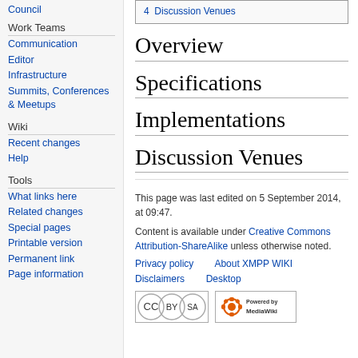Council
Work Teams
Communication
Editor
Infrastructure
Summits, Conferences & Meetups
Wiki
Recent changes
Help
Tools
What links here
Related changes
Special pages
Printable version
Permanent link
Page information
| 4  Discussion Venues |
Overview
Specifications
Implementations
Discussion Venues
This page was last edited on 5 September 2014, at 09:47.
Content is available under Creative Commons Attribution-ShareAlike unless otherwise noted.
Privacy policy    About XMPP WIKI
Disclaimers    Desktop
[Figure (logo): Creative Commons BY-SA license badge]
[Figure (logo): Powered by MediaWiki badge]